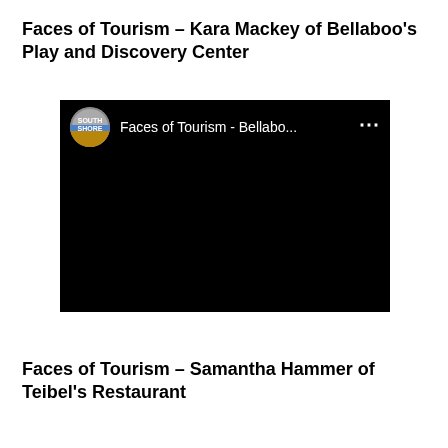Faces of Tourism – Kara Mackey of Bellaboo's Play and Discovery Center
[Figure (screenshot): Embedded video player showing a black screen with a YouTube-style top bar. The top bar has a circular South Shore logo on the left, the text 'Faces of Tourism - Bellabo...' in the center, and a three-dot menu icon on the right.]
Faces of Tourism – Samantha Hammer of Teibel's Restaurant